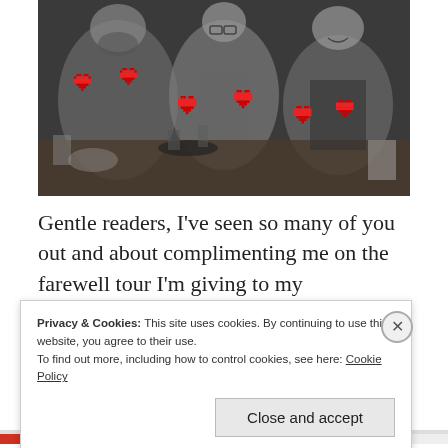[Figure (photo): Black and white photo of three people sitting at a bar/restaurant table. Red pixel heart emojis are overlaid on their chests as censorship. Food and drinks are visible on the table.]
Gentle readers, I've seen so many of you out and about complimenting me on the farewell tour I'm giving to my
Privacy & Cookies: This site uses cookies. By continuing to use this website, you agree to their use.
To find out more, including how to control cookies, see here: Cookie Policy
Close and accept